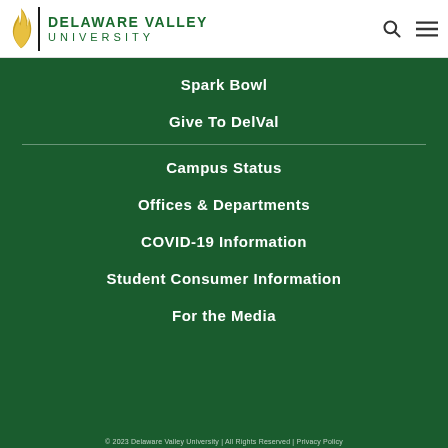[Figure (logo): Delaware Valley University logo with flame icon and green text]
Spark Bowl
Give To DelVal
Campus Status
Offices & Departments
COVID-19 Information
Student Consumer Information
For the Media
© 2023 Delaware Valley University | All Rights Reserved | Privacy Policy